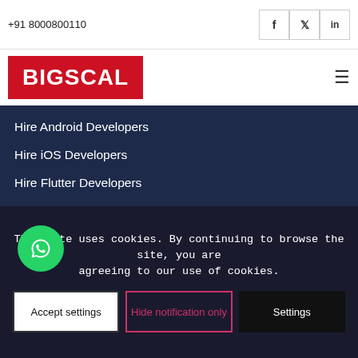+91 8000800110
[Figure (logo): BIGSCAL logo in white text on red background]
Hire Android Developers
Hire iOS Developers
Hire Flutter Developers
Hire Kotlin Developers
Hire React Native Developers
Hire .Net Developers
Hire ROR Developers
Hire GraphQL Developers
Hire PHP Developers
Hire Laravel Developers
Hire Codeigniter Developers
This site uses cookies. By continuing to browse the site, you are agreeing to our use of cookies.
Accept settings | Hide notification only | Settings